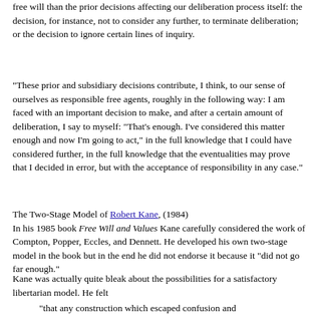free will than the prior decisions affecting our deliberation process itself: the decision, for instance, not to consider any further, to terminate deliberation; or the decision to ignore certain lines of inquiry.
"These prior and subsidiary decisions contribute, I think, to our sense of ourselves as responsible free agents, roughly in the following way: I am faced with an important decision to make, and after a certain amount of deliberation, I say to myself: "That's enough. I've considered this matter enough and now I'm going to act," in the full knowledge that I could have considered further, in the full knowledge that the eventualities may prove that I decided in error, but with the acceptance of responsibility in any case."
The Two-Stage Model of Robert Kane, (1984)
In his 1985 book Free Will and Values Kane carefully considered the work of Compton, Popper, Eccles, and Dennett. He developed his own two-stage model in the book but in the end he did not endorse it because it "did not go far enough."
Kane was actually quite bleak about the possibilities for a satisfactory libertarian model. He felt
"that any construction which escaped confusion and